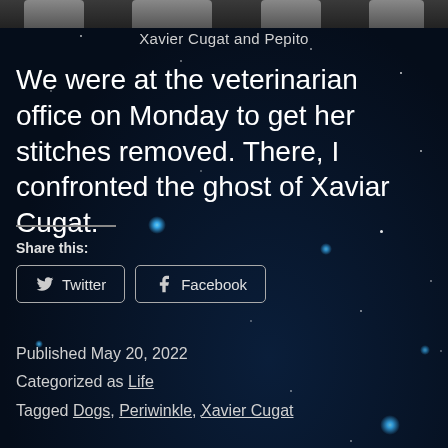[Figure (photo): Black and white photo strip at the top showing people, partially cropped]
Xavier Cugat and Pepito
We were at the veterinarian office on Monday to get her stitches removed. There, I confronted the ghost of Xaviar Cugat.
Share this:
Twitter
Facebook
Published May 20, 2022
Categorized as Life
Tagged Dogs, Periwinkle, Xavier Cugat